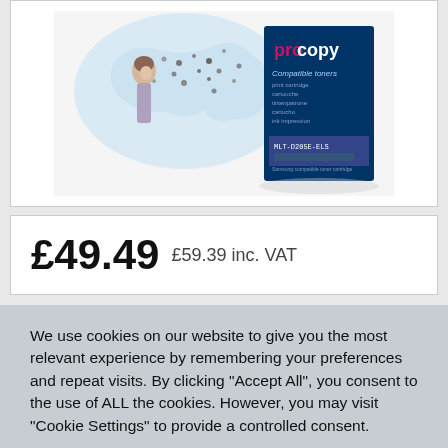[Figure (photo): Product image showing a Procopy compatible toner cartridge box with a globe made of people photos and a woman looking upward, and product packaging labeled MLT-D205E-ELS]
£49.49 £59.39 inc. VAT
We use cookies on our website to give you the most relevant experience by remembering your preferences and repeat visits. By clicking "Accept All", you consent to the use of ALL the cookies. However, you may visit "Cookie Settings" to provide a controlled consent.